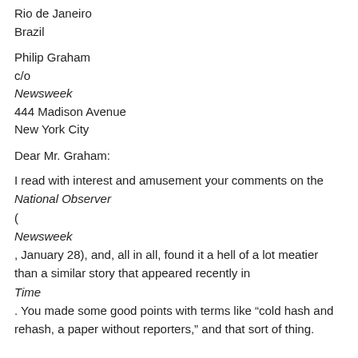Rio de Janeiro
Brazil
Philip Graham
c/o
Newsweek
444 Madison Avenue
New York City
Dear Mr. Graham:
I read with interest and amusement your comments on the National Observer (Newsweek, January 28), and, all in all, found it a hell of a lot meatier than a similar story that appeared recently in Time. You made some good points with terms like “cold hash and rehash, a paper without reporters,” and that sort of thing.